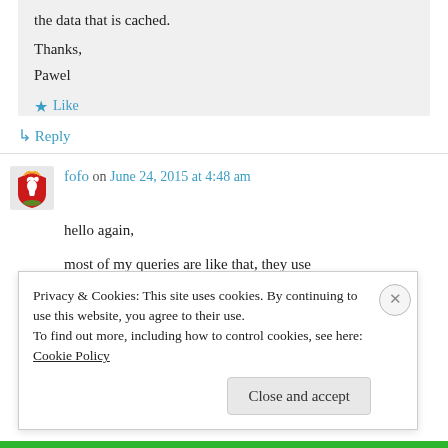the data that is cached.
Thanks,
Pawel
★ Like
↳ Reply
fofo on June 24, 2015 at 4:48 am
hello again,
most of my queries are like that, they use
Privacy & Cookies: This site uses cookies. By continuing to use this website, you agree to their use. To find out more, including how to control cookies, see here: Cookie Policy
Close and accept